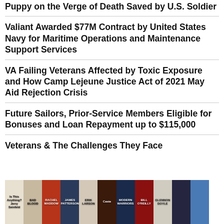Puppy on the Verge of Death Saved by U.S. Soldier
Valiant Awarded $77M Contract by United States Navy for Maritime Operations and Maintenance Support Services
VA Failing Veterans Affected by Toxic Exposure and How Camp Lejeune Justice Act of 2021 May Aid Rejection Crisis
Future Sailors, Prior-Service Members Eligible for Bonuses and Loan Repayment up to $115,000
Veterans & The Challenges They Face
[Figure (photo): A grid of book covers including titles such as Rachel Maddow, Modern Warriors, and others, displayed in a collage-style arrangement.]